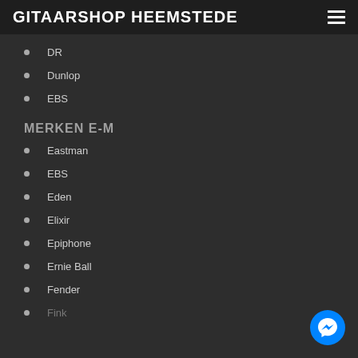GITAARSHOP HEEMSTEDE
DR
Dunlop
EBS
MERKEN E-M
Eastman
EBS
Eden
Elixir
Epiphone
Ernie Ball
Fender
Fink